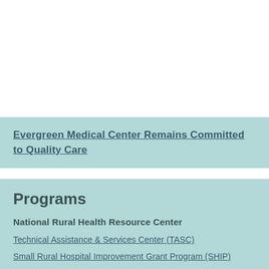Evergreen Medical Center Remains Committed to Quality Care
Programs
National Rural Health Resource Center
Technical Assistance & Services Center (TASC)
Small Rural Hospital Improvement Grant Program (SHIP)
Delta Region Community Health Systems Development